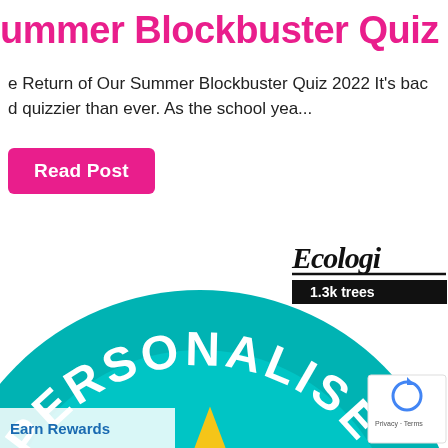ummer Blockbuster Quiz 2022
e Return of Our Summer Blockbuster Quiz 2022 It's bac d quizzier than ever. As the school yea...
Read Post
[Figure (illustration): Teal circular badge with white bold text reading PERSONALISED, with a yellow star shape at the bottom center. Partially cropped at the bottom. Ecologi branding badge in upper right showing italic text 'Ecologi' with '1.3k trees' on a black bar. Lower right shows a reCAPTCHA badge. Lower left shows 'Earn Rewards' label on a teal/blue background.]